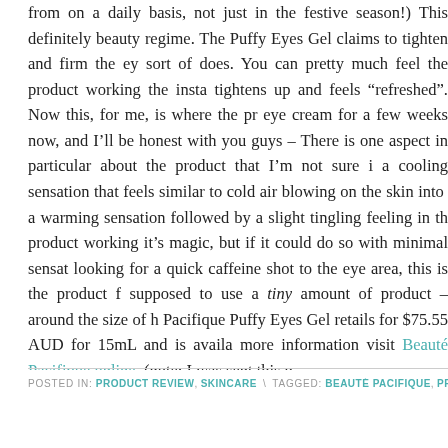from on a daily basis, not just in the festive season!) This definitely beauty regime. The Puffy Eyes Gel claims to tighten and firm the ey sort of does. You can pretty much feel the product working the insta tightens up and feels “refreshed”. Now this, for me, is where the pr eye cream for a few weeks now, and I’ll be honest with you guys – There is one aspect in particular about the product that I’m not sure i a cooling sensation that feels similar to cold air blowing on the skin into a warming sensation followed by a slight tingling feeling in th product working it’s magic, but if it could do so with minimal sensat looking for a quick caffeine shot to the eye area, this is the product f supposed to use a tiny amount of product – around the size of h Pacifique Puffy Eyes Gel retails for $75.55 AUD for 15mL and is availa more information visit Beauté Pacifique online. (note: I was sent this p
POSTED IN: PRODUCT REVIEW, SKINCARE \ TAGGED: BEAUTÉ PACIFIQUE, PRODUCT REV